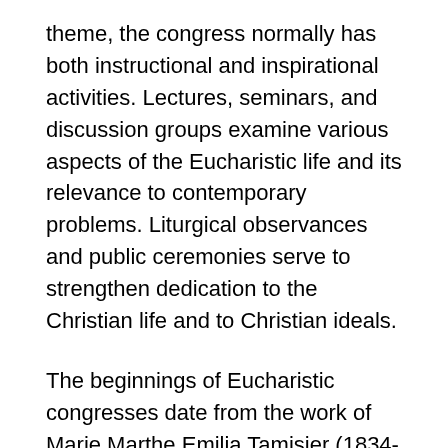theme, the congress normally has both instructional and inspirational activities. Lectures, seminars, and discussion groups examine various aspects of the Eucharistic life and its relevance to contemporary problems. Liturgical observances and public ceremonies serve to strengthen dedication to the Christian life and to Christian ideals.
The beginnings of Eucharistic congresses date from the work of Marie Marthe Emilia Tamisier (1834-1910) of Touraine, France. In her devotion to the Holy Eucharist, Mlle Tamisier first encouraged pilgrimages to places where Eucharistic miracles were commemorated: Avignon, Ars, Douai, Paris, and Paray-le-Monial. In 1873 at Paray-le-Monial she saw about 60 members of the French Parliament kneel in the chapel (where Christ revealed His will to St. Margaret Mary) and promise to